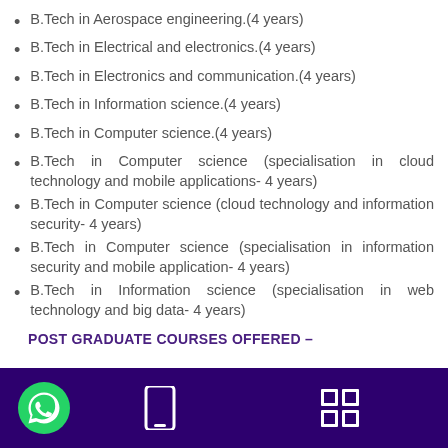B.Tech in Aerospace engineering.(4 years)
B.Tech in Electrical and electronics.(4 years)
B.Tech in Electronics and communication.(4 years)
B.Tech in Information science.(4 years)
B.Tech in Computer science.(4 years)
B.Tech in Computer science (specialisation in cloud technology and mobile applications- 4 years)
B.Tech in Computer science (cloud technology and information security- 4 years)
B.Tech in Computer science (specialisation in information security and mobile application- 4 years)
B.Tech in Information science (specialisation in web technology and big data- 4 years)
POST GRADUATE COURSES OFFERED –
[Figure (other): Footer bar with WhatsApp icon, phone icon, and grid icon on dark purple background]